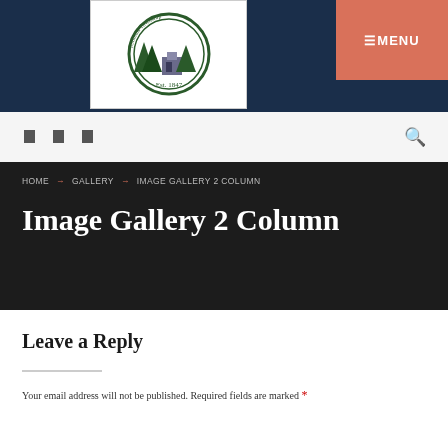[Figure (logo): Township seal/logo with green circle design showing trees and building, Est. 1847]
☰ MENU
Social media icons and search
HOME → GALLERY → IMAGE GALLERY 2 COLUMN
Image Gallery 2 Column
Leave a Reply
Your email address will not be published. Required fields are marked *